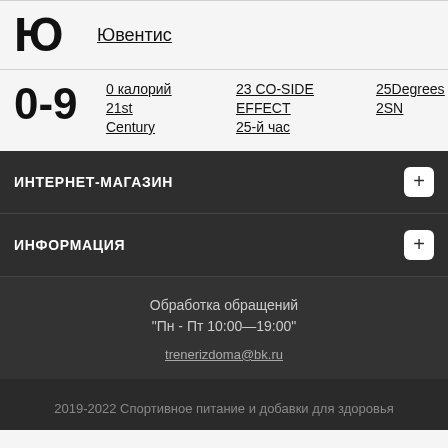Ю   Ювентис
0-9   0 калорий   21st Century   23 CO-SIDE EFFECT   25-й час   25Degrees   2SN   3W Clinic   5% Rich Piana
ИНТЕРНЕТ-МАГАЗИН
ИНФОРМАЦИЯ
Обработка обращений
"Пн - Пт 10:00—19:00"
trenerizdoma@bk.ru
2019-2022 Спортивное питание и добавки для здоровья